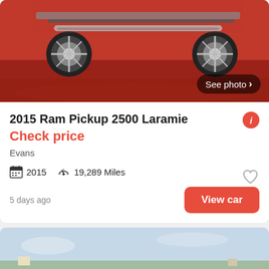[Figure (photo): Red showroom floor with bottom portion of a Ram Pickup truck visible, chrome wheels and side steps showing]
2015 Ram Pickup 2500 Laramie
Check price
Evans
2015  19,289 Miles
5 days ago
View car
[Figure (photo): Dark blue/navy Ram pickup truck with flatbed and front push bumper, parked outdoors on rural road with dry grass and trees in background]